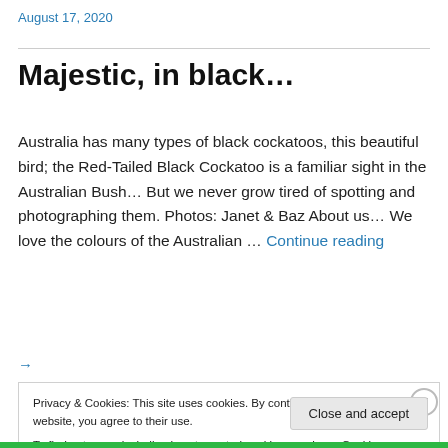August 17, 2020
Majestic, in black…
Australia has many types of black cockatoos, this beautiful bird; the Red-Tailed Black Cockatoo is a familiar sight in the Australian Bush… But we never grow tired of spotting and photographing them. Photos: Janet & Baz About us… We love the colours of the Australian … Continue reading →
Privacy & Cookies: This site uses cookies. By continuing to use this website, you agree to their use.
To find out more, including how to control cookies, see here: Cookie Policy
Close and accept